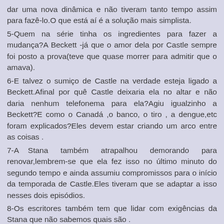dar uma nova dinâmica e não tiveram tanto tempo assim para fazê-lo.O que está aí é a solução mais simplista.
5-Quem na série tinha os ingredientes para fazer a mudança?A Beckett -já que o amor dela por Castle sempre foi posto a prova(teve que quase morrer para admitir que o amava).
6-E talvez o sumiço de Castle na verdade esteja ligado a Beckett.Afinal por quê Castle deixaria ela no altar e não daria nenhum telefonema para ela?Agiu igualzinho a Beckett?E como o Canadá ,o banco, o tiro , a dengue,etc foram explicados?Eles devem estar criando um arco entre as coisas .
7-A Stana também atrapalhou demorando para renovar,lembrem-se que ela fez isso no último minuto do segundo tempo e ainda assumiu compromissos para o início da temporada de Castle.Eles tiveram que se adaptar a isso nesses dois episódios.
8-Os escritores também tem que lidar com exigências da Stana que não sabemos quais são .
9-Quem bagunçou a série foi o Marlowe e sua turma,uma temporada inteira para planejar um casamento que no dia dá errado?E a sétima ficou sem pé nem cabeça faltava